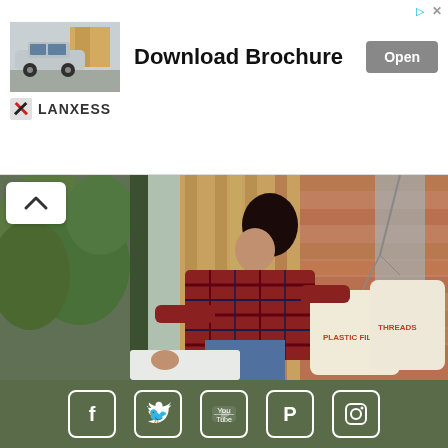[Figure (advertisement): LANXESS advertisement banner with car image, 'Download Brochure' text, and Open button]
[Figure (photo): Woman in plaid shirt leaning over to pick up bags labeled 'PLASTIC FILM' and 'THREADS' at a front door with brick and wood panel wall]
[Figure (infographic): Dark olive green footer bar with social media icons: Facebook, Twitter, YouTube, Pinterest, Instagram]